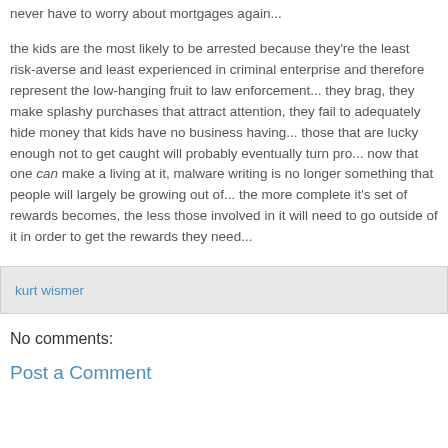never have to worry about mortgages again...
the kids are the most likely to be arrested because they're the least risk-averse and least experienced in criminal enterprise and therefore represent the low-hanging fruit to law enforcement... they brag, they make splashy purchases that attract attention, they fail to adequately hide money that kids have no business having... those that are lucky enough not to get caught will probably eventually turn pro... now that one can make a living at it, malware writing is no longer something that people will largely be growing out of... the more complete it's set of rewards becomes, the less those involved in it will need to go outside of it in order to get the rewards they need...
kurt wismer
No comments:
Post a Comment